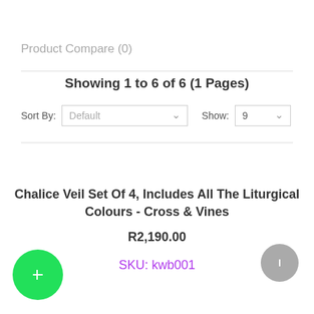Product Compare (0)
Showing 1 to 6 of 6 (1 Pages)
Sort By: Default   Show: 9
Chalice Veil Set Of 4, Includes All The Liturgical Colours - Cross & Vines
R2,190.00
SKU: kwb001